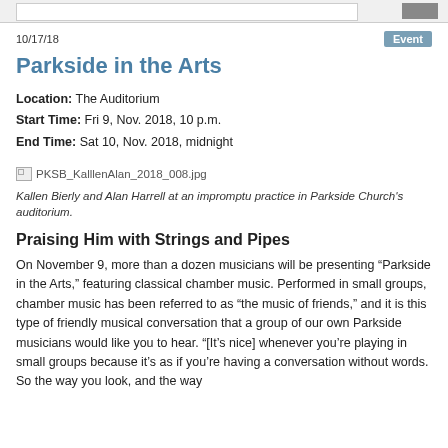10/17/18
Parkside in the Arts
Location: The Auditorium
Start Time: Fri 9, Nov. 2018, 10 p.m.
End Time: Sat 10, Nov. 2018, midnight
[Figure (photo): Broken image placeholder: PKSB_KalllenAlan_2018_008.jpg]
Kallen Bierly and Alan Harrell at an impromptu practice in Parkside Church's auditorium.
Praising Him with Strings and Pipes
On November 9, more than a dozen musicians will be presenting “Parkside in the Arts,” featuring classical chamber music. Performed in small groups, chamber music has been referred to as “the music of friends,” and it is this type of friendly musical conversation that a group of our own Parkside musicians would like you to hear. “[It’s nice] whenever you’re playing in small groups because it’s as if you’re having a conversation without words. So the way you look, and the way